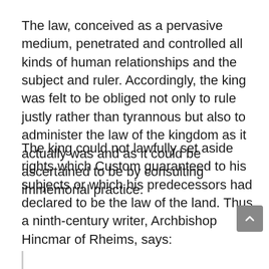The law, conceived as a pervasive medium, penetrated and controlled all kinds of human relationships and the subject and ruler. Accordingly, the king was felt to be obliged not only to rule justly rather than tyrannous but also to administer the law of the kingdom as it actually was and as it could be ascertained to be by consulting immemorial practice.
The king could not lawfully set aside rights which Custom guaranteed to his subjects or which his predecessors had declared to be the law of the land. Thus a ninth-century writer, Archbishop Hincmar of Rheims, says: